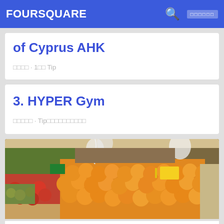FOURSQUARE
of Cyprus AHK
□□□□ · 1□□ Tip
3. HYPER Gym
□□□□□ · Tip□□□□□□□□□□
[Figure (photo): Indoor fruit market display with large quantities of oranges piled on tables, apples visible on left side, plastic bags hanging, produce store interior]
4. Fruiteria